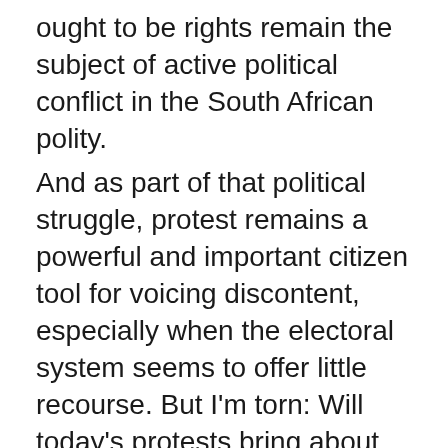ought to be rights remain the subject of active political conflict in the South African polity.
And as part of that political struggle, protest remains a powerful and important citizen tool for voicing discontent, especially when the electoral system seems to offer little recourse. But I'm torn: Will today's protests bring about stronger and more responsive democratic governance? Perhaps. But it also might backfire if such protests are organized at too low of a threshold, and if active engagement falls by the wayside as a strategy for realizing human rights and promoting better service delivery. My point is not to blame the protesters, but to wonder